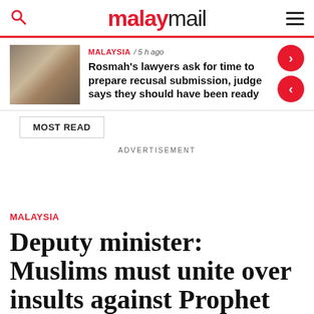malaymail
MALAYSIA / 5 h ago
Rosmah's lawyers ask for time to prepare recusal submission, judge says they should have been ready
MOST READ
ADVERTISEMENT
MALAYSIA
Deputy minister: Muslims must unite over insults against Prophet Muhammad